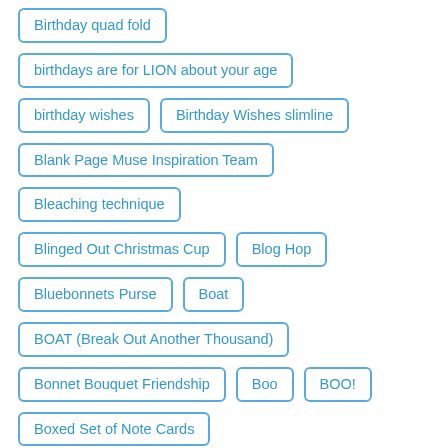Birthday quad fold
birthdays are for LION about your age
birthday wishes
Birthday Wishes slimline
Blank Page Muse Inspiration Team
Bleaching technique
Blinged Out Christmas Cup
Blog Hop
Bluebonnets Purse
Boat
BOAT (Break Out Another Thousand)
Bonnet Bouquet Friendship
Boo
BOO!
Boxed Set of Note Cards
Boxed Set of Thank You Cards
Bravo